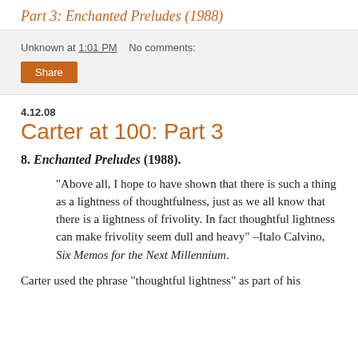Part 3: Enchanted Preludes (1988)
Unknown at 1:01 PM    No comments:
Share
4.12.08
Carter at 100: Part 3
8. Enchanted Preludes (1988).
“Above all, I hope to have shown that there is such a thing as a lightness of thoughtfulness, just as we all know that there is a lightness of frivolity. In fact thoughtful lightness can make frivolity seem dull and heavy” –Italo Calvino, Six Memos for the Next Millennium.
Carter used the phrase “thoughtful lightness” as part of his